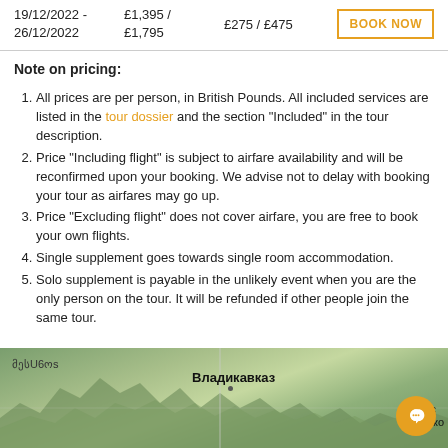| Dates | Price | Supplements | Action |
| --- | --- | --- | --- |
| 19/12/2022 - 26/12/2022 | £1,395 / £1,795 | £275 / £475 | BOOK NOW |
Note on pricing:
All prices are per person, in British Pounds. All included services are listed in the tour dossier and the section "Included" in the tour description.
Price "Including flight" is subject to airfare availability and will be reconfirmed upon your booking. We advise not to delay with booking your tour as airfares may go up.
Price "Excluding flight" does not cover airfare, you are free to book your own flights.
Single supplement goes towards single room accommodation.
Solo supplement is payable in the unlikely event when you are the only person on the tour. It will be refunded if other people join the same tour.
[Figure (map): Topographic map showing the Caucasus mountain region with Vladikavkaz labeled in Cyrillic (Владикавказ), Georgian script text on the left, and partial city name on the right (Буйнако). An orange chat icon circle is overlaid in the bottom right.]